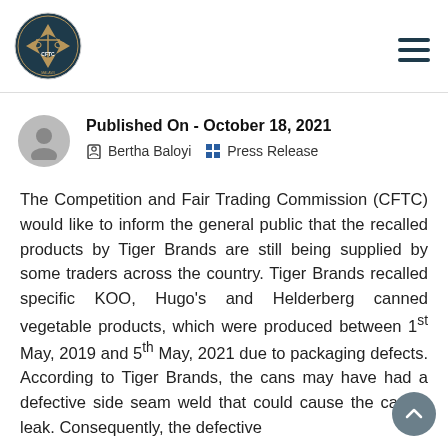[Figure (logo): CFTC (Competition and Fair Trading Commission) circular logo with dark teal background, gold scales and diamond shapes, text around border]
Published On - October 18, 2021  Bertha Baloyi  Press Release
The Competition and Fair Trading Commission (CFTC) would like to inform the general public that the recalled products by Tiger Brands are still being supplied by some traders across the country. Tiger Brands recalled specific KOO, Hugo's and Helderberg canned vegetable products, which were produced between 1st May, 2019 and 5th May, 2021 due to packaging defects. According to Tiger Brands, the cans may have had a defective side seam weld that could cause the can to leak. Consequently, the defective